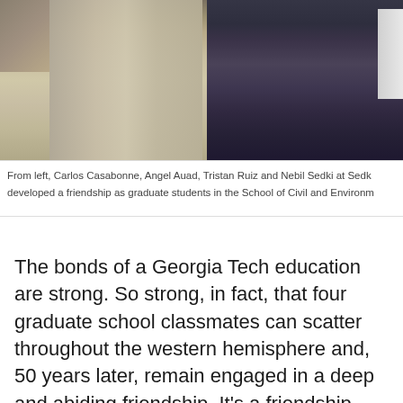[Figure (photo): Partial photo showing lower bodies of people standing together, one in gray trousers and one in dark navy suit, with interior background visible.]
From left, Carlos Casabonne, Angel Auad, Tristan Ruiz and Nebil Sedki at Sedk developed a friendship as graduate students in the School of Civil and Environm
The bonds of a Georgia Tech education are strong. So strong, in fact, that four graduate school classmates can scatter throughout the western hemisphere and, 50 years later, remain engaged in a deep and abiding friendship. It’s a friendship that has enveloped their wives, and it’s one that rekindled this fall as the entire group gathered in Atlanta for the first time since 1964.